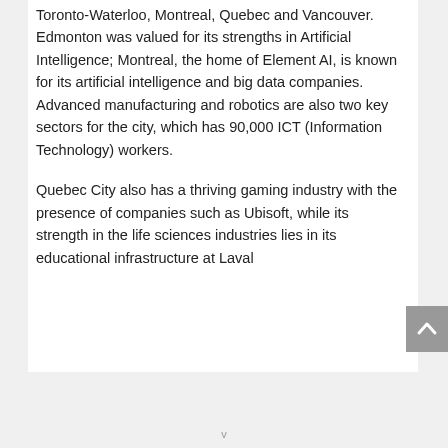Toronto-Waterloo, Montreal, Quebec and Vancouver. Edmonton was valued for its strengths in Artificial Intelligence; Montreal, the home of Element AI, is known for its artificial intelligence and big data companies. Advanced manufacturing and robotics are also two key sectors for the city, which has 90,000 ICT (Information Technology) workers.

Quebec City also has a thriving gaming industry with the presence of companies such as Ubisoft, while its strength in the life sciences industries lies in its educational infrastructure at Laval